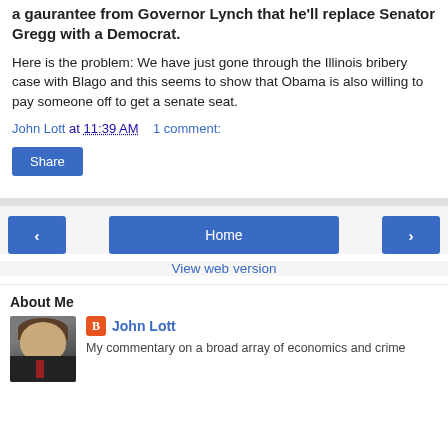The White House, I'm told, is still trying to get a gaurantee from Governor Lynch that he'll replace Senator Gregg with a Democrat.
Here is the problem: We have just gone through the Illinois bribery case with Blago and this seems to show that Obama is also willing to pay someone off to get a senate seat.
John Lott at 11:39 AM   1 comment:
Share
Home
View web version
About Me
John Lott
My commentary on a broad array of economics and crime